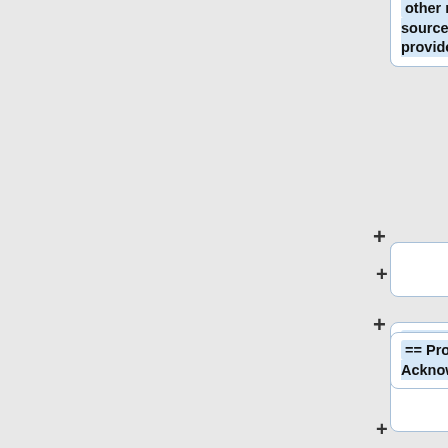other modules are based on source text from external providers.
+
== Provenance and Acknowledgements ==
Strong's numbers provide a useful means for looking up the exact original language word in a lexicon that is keyed to [http://en.wikipedia.org/wiki/Str